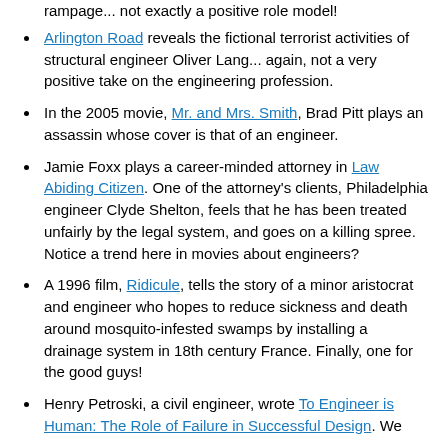example, a defense engineer who goes on a violent rampage... not exactly a positive role model!
Arlington Road reveals the fictional terrorist activities of structural engineer Oliver Lang... again, not a very positive take on the engineering profession.
In the 2005 movie, Mr. and Mrs. Smith, Brad Pitt plays an assassin whose cover is that of an engineer.
Jamie Foxx plays a career-minded attorney in Law Abiding Citizen. One of the attorney's clients, Philadelphia engineer Clyde Shelton, feels that he has been treated unfairly by the legal system, and goes on a killing spree. Notice a trend here in movies about engineers?
A 1996 film, Ridicule, tells the story of a minor aristocrat and engineer who hopes to reduce sickness and death around mosquito-infested swamps by installing a drainage system in 18th century France. Finally, one for the good guys!
Henry Petroski, a civil engineer, wrote To Engineer is Human: The Role of Failure in Successful Design. We